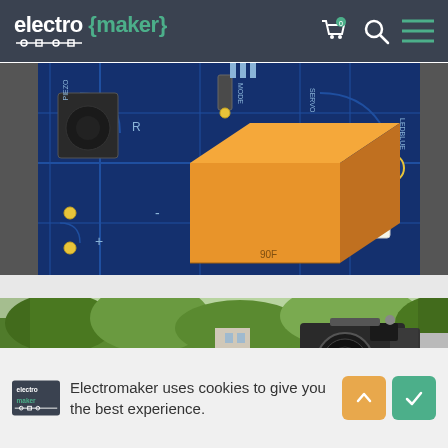electro{maker}
[Figure (screenshot): Screenshot of PCB/circuit board design with a 3D orange box component rendered on a blue circuit board background. Labels visible: R, IR, PIEZO, MODE, SERVO, LEDBLUE, 100F, plus and minus signs.]
[Figure (photo): Outdoor photo of a person holding a camera (appears to be a Ricoh or similar film/digital camera) on a tripod in a park with green trees and grass.]
Electromaker uses cookies to give you the best experience.